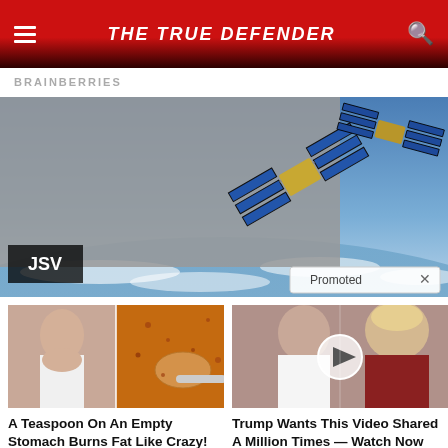THE TRUE DEFENDER
BRAINBERRIES
[Figure (photo): Promoted satellite image ad with JSV watermark and Promoted badge]
[Figure (photo): Article thumbnail: woman and spice on spoon for weight loss article]
A Teaspoon On An Empty Stomach Burns Fat Like Crazy!
🔥 130,185
[Figure (photo): Article thumbnail: Melania and Trump with video play button overlay]
Trump Wants This Video Shared A Million Times — Watch Now Before It's Banned!
🔥 27,181